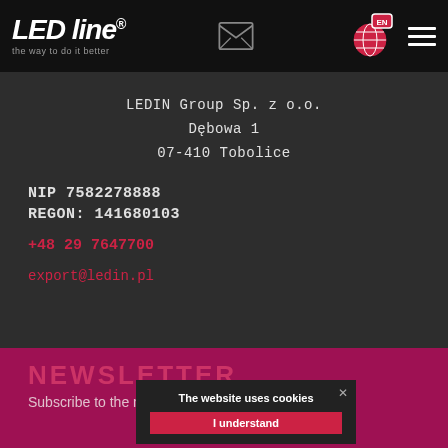[Figure (logo): LED line logo with tagline 'the way to do it better' on black header bar, with envelope icon, globe with EN badge, and hamburger menu]
LEDIN Group Sp. z o.o.
Dębowa 1
07-410 Tobolice
NIP 7582278888
REGON: 141680103
+48 29 7647700
export@ledin.pl
NEWSLETTER
Subscribe to the newsletter
The website uses cookies
I understand